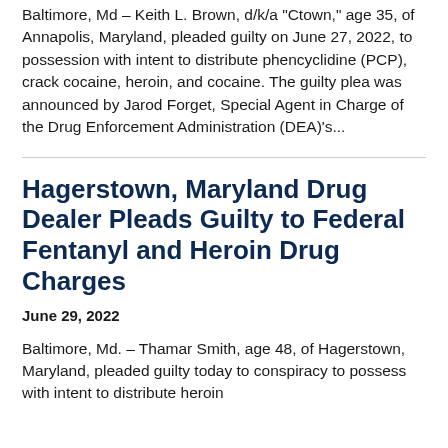Baltimore, Md – Keith L. Brown, d/k/a 'Ctown,' age 35, of Annapolis, Maryland, pleaded guilty on June 27, 2022, to possession with intent to distribute phencyclidine (PCP), crack cocaine, heroin, and cocaine. The guilty plea was announced by Jarod Forget, Special Agent in Charge of the Drug Enforcement Administration (DEA)'s...
Hagerstown, Maryland Drug Dealer Pleads Guilty to Federal Fentanyl and Heroin Drug Charges
June 29, 2022
Baltimore, Md. – Thamar Smith, age 48, of Hagerstown, Maryland, pleaded guilty today to conspiracy to possess with intent to distribute heroin